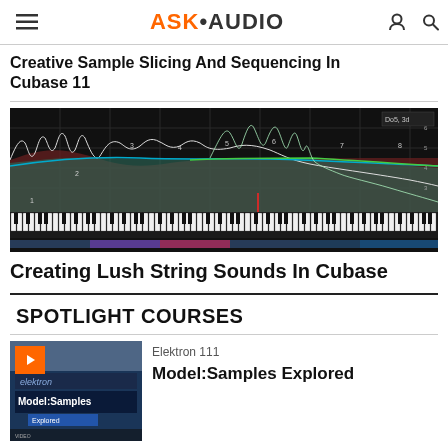ASK•AUDIO
Creative Sample Slicing And Sequencing In Cubase 11
[Figure (screenshot): Cubase frequency analyzer / spectral display showing piano keyboard at bottom and audio waveform / EQ curves in dark background, with numbered markers 1-8]
Creating Lush String Sounds In Cubase
SPOTLIGHT COURSES
Elektron 111
Model:Samples Explored